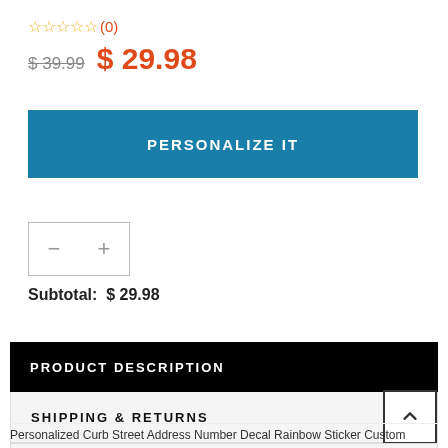☆☆☆☆☆ (0)
$ 39.99  $ 29.98
PERSONALIZE IT
— +
Subtotal: $ 29.98
PRODUCT DESCRIPTION
SHIPPING & RETURNS
CUSTOMER REVIEWS
Personalized Curb Street Address Number Decal Rainbow Sticker Custom